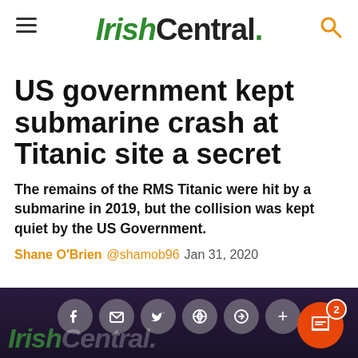IrishCentral.
US government kept submarine crash at Titanic site a secret
The remains of the RMS Titanic were hit by a submarine in 2019, but the collision was kept quiet by the US Government.
Shane O'Brien @shamob96  Jan 31, 2020